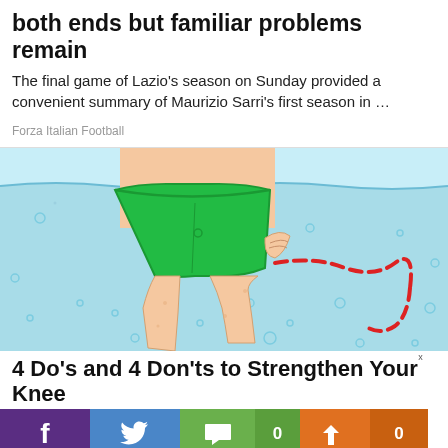both ends but familiar problems remain
The final game of Lazio's season on Sunday provided a convenient summary of Maurizio Sarri's first season in …
Forza Italian Football
[Figure (illustration): Cartoon illustration of a person wearing green shorts standing in water, with a red dashed arrow indicating leg/knee movement]
4 Do's and 4 Don'ts to Strengthen Your Knee